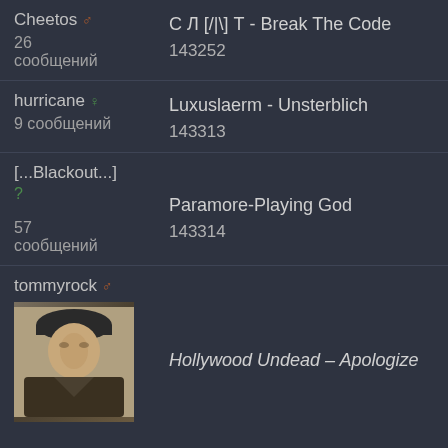Cheetos ♂
С Л [/|\] Т - Break The Code
26 сообщений
143252
hurricane ♀
Luxuslaerm - Unsterblich
9 сообщений
143313
[...Blackout...] ?
Paramore-Playing God
57 сообщений
143314
tommyrock ♂
[Figure (photo): Avatar photo of tommyrock, person wearing a dark hat]
Hollywood Undead – Apologize